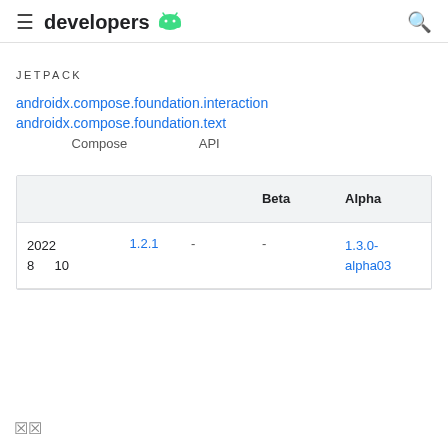developers
JETPACK
androidx.compose.foundation.interaction
androidx.compose.foundation.text
xxxxxxxxx Compose xxxxxxxxxxx API xxxxx
| xxxxxxx | xxx | xxxx | Beta x | Alpha x |
| --- | --- | --- | --- | --- |
| 2022 x
8 x 10 x | 1.2.1 | - | - | 1.3.0-alpha03 |
xx